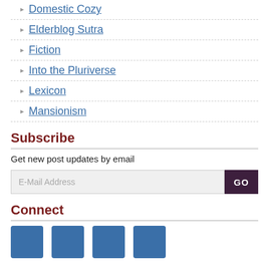Domestic Cozy
Elderblog Sutra
Fiction
Into the Pluriverse
Lexicon
Mansionism
Subscribe
Get new post updates by email
[Figure (other): Email subscription form with E-Mail Address input field and GO button]
Connect
[Figure (other): Four blue social media icon squares]